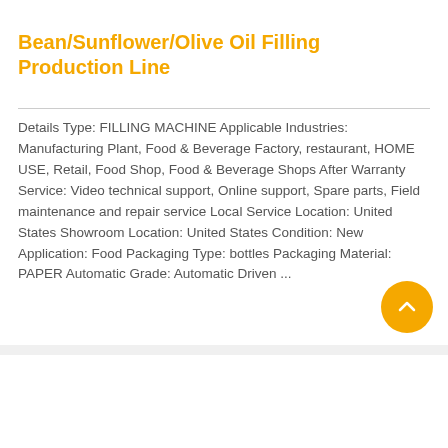Bean/Sunflower/Olive Oil Filling Production Line
Details Type: FILLING MACHINE Applicable Industries: Manufacturing Plant, Food & Beverage Factory, restaurant, HOME USE, Retail, Food Shop, Food & Beverage Shops After Warranty Service: Video technical support, Online support, Spare parts, Field maintenance and repair service Local Service Location: United States Showroom Location: United States Condition: New Application: Food Packaging Type: bottles Packaging Material: PAPER Automatic Grade: Automatic Driven ...
Read More
[Figure (photo): Industrial filling machine equipment photo]
Npack China